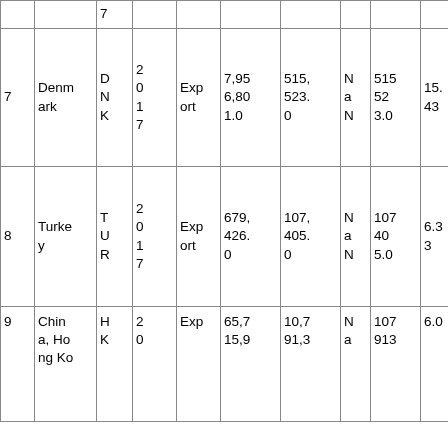|  |  | 7 |  |  |  |  |  |  |  |
| 7 | Denmark | D
N
K | 2
0
1
7 | Export | 7,95
6,80
1.0 | 515,
523.
0 | N
a
N | 515
52
3.0 | 15.
43 |
| 8 | Turkey | T
U
R | 2
0
1
7 | Export | 679,
426.
0 | 107,
405.
0 | N
a
N | 107
40
5.0 | 6.3
3 |
| 9 | China, Hong Ko | H
K | 2
0 | Exp | 65,7
15,9 | 10,7
91,3 | N
a | 107
913 | 6.0 |